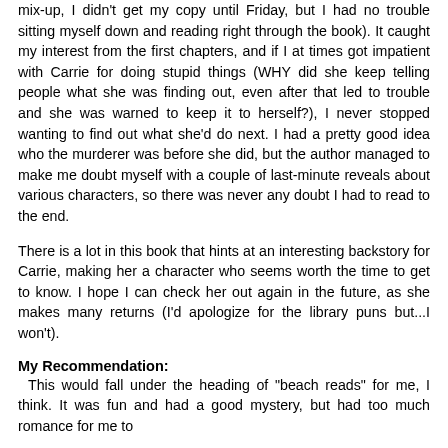mix-up, I didn't get my copy until Friday, but I had no trouble sitting myself down and reading right through the book). It caught my interest from the first chapters, and if I at times got impatient with Carrie for doing stupid things (WHY did she keep telling people what she was finding out, even after that led to trouble and she was warned to keep it to herself?), I never stopped wanting to find out what she'd do next. I had a pretty good idea who the murderer was before she did, but the author managed to make me doubt myself with a couple of last-minute reveals about various characters, so there was never any doubt I had to read to the end.
There is a lot in this book that hints at an interesting backstory for Carrie, making her a character who seems worth the time to get to know. I hope I can check her out again in the future, as she makes many returns (I'd apologize for the library puns but...I won't).
My Recommendation:
This would fall under the heading of "beach reads" for me, I think. It was fun and had a good mystery, but had too much romance for me to truly right be perfect for me to